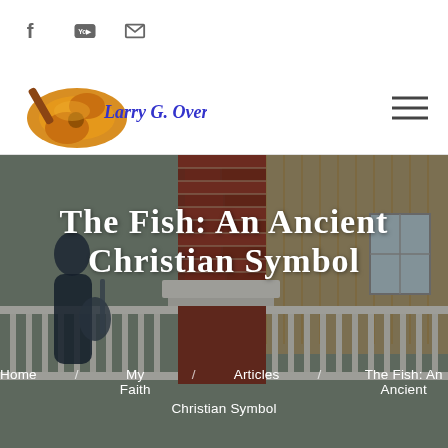Social icons: Facebook, YouTube, Email
[Figure (logo): Larry G. Overton logo with orange electric guitar and cursive script name]
[Figure (photo): Man playing guitar on a porch with brick column and white railing in the background]
THE FISH: AN ANCIENT CHRISTIAN SYMBOL
Home  My Faith  Articles  The Fish: An Ancient Christian Symbol